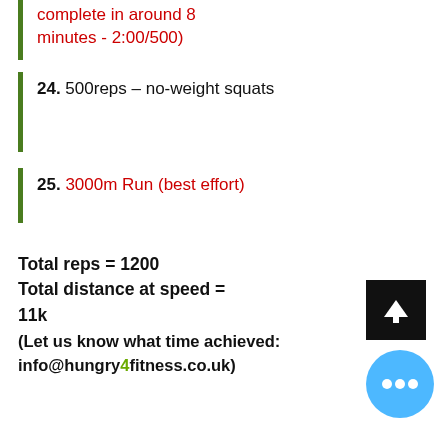complete in around 8 minutes - 2:00/500)
24. 500reps – no-weight squats
25. 3000m Run (best effort)
Total reps = 1200
Total distance at speed = 11k
(Let us know what time achieved: info@hungry4fitness.co.uk)